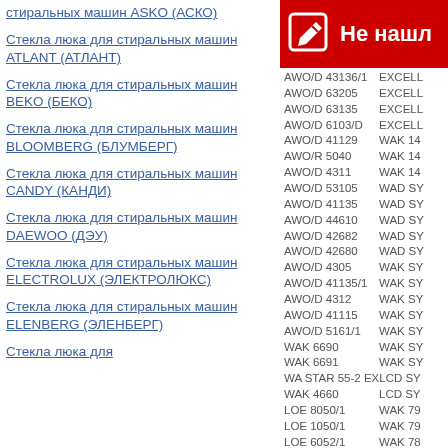Стекла люка для стиральных машин ASKO (АСКО)
Стекла люка для стиральных машин ATLANT (АТЛАНТ)
Стекла люка для стиральных машин BEKO (БEКО)
Стекла люка для стиральных машин BLOOMBERG (БЛУМБЕРГ)
Стекла люка для стиральных машин CANDY (КАНДИ)
Стекла люка для стиральных машин DAEWOO (ДЭУ)
Стекла люка для стиральных машин ELECTROLUX (ЭЛЕКТРОЛЮКС)
Стекла люка для стиральных машин ELENBERG (ЭЛЕНБЕРГ)
Стекла люка для
[Figure (other): Red banner with edit icon and text 'Не нашл']
| Model | Series |
| --- | --- |
| AWO/D 43136/1 | EXCELL |
| AWO/D 63205 | EXCELL |
| AWO/D 63135 | EXCELL |
| AWO/D 6103/D | EXCELL |
| AWO/D 41129 | WAK 14 |
| AWO/R 5040 | WAK 14 |
| AWO/D 4311 | WAK 14 |
| AWO/D 53105 | WAD SY |
| AWO/D 41135 | WAD SY |
| AWO/D 44610 | WAD SY |
| AWO/D 42682 | WAD SY |
| AWO/D 42680 | WAD SY |
| AWO/D 4305 | WAK SY |
| AWO/D 41135/1 | WAK SY |
| AWO/D 4312 | WAK SY |
| AWO/D 41115 | WAK SY |
| AWO/D 5161/1 | WAK SY |
| WAK 6690 | WAK SY |
| WAK 6691 | WAK SY |
| WA STAR 55-2 EX | LCD SY |
| WAK 4660 | LCD SY |
| LOE 8050/1 | WAK 79 |
| LOE 1050/1 | WAK 79 |
| LOE 6052/1 | WAK 78 |
| LOE 6050/1 | WAK 78 |
| AWO/D 43425 | WAK 78 |
| AWO/D 7120 DS | WAK 78 |
| AWO/D 6100 S | WAK 78 |
| WA 9986/1 | WAK 78 |
| WAK 7312 | WAK 78 |
| AWO/D 6090 | WAK 78 |
| AWO/D 6070 | WAK 78 |